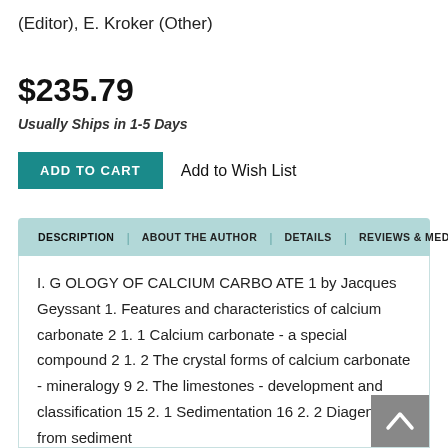(Editor), E. Kroker (Other)
$235.79
Usually Ships in 1-5 Days
ADD TO CART   Add to Wish List
DESCRIPTION | ABOUT THE AUTHOR | DETAILS | REVIEWS & MEDIA
I. G OLOGY OF CALCIUM CARBO ATE 1 by Jacques Geyssant 1. Features and characteristics of calcium carbonate 2 1. 1 Calcium carbonate - a special compound 2 1. 2 The crystal forms of calcium carbonate - mineralogy 9 2. The limestones - development and classification 15 2. 1 Sedimentation 16 2. 2 Diagenesis - from sediment